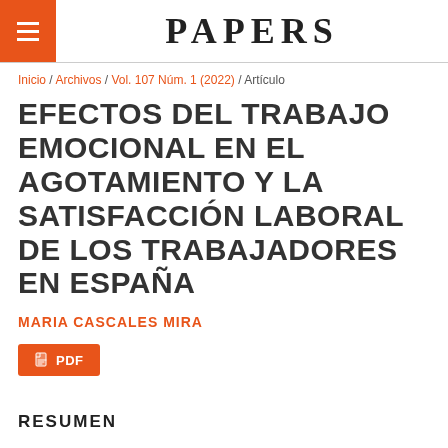PAPERS
Inicio / Archivos / Vol. 107 Núm. 1 (2022) / Artículo
EFECTOS DEL TRABAJO EMOCIONAL EN EL AGOTAMIENTO Y LA SATISFACCIÓN LABORAL DE LOS TRABAJADORES EN ESPAÑA
MARIA CASCALES MIRA
PDF
RESUMEN